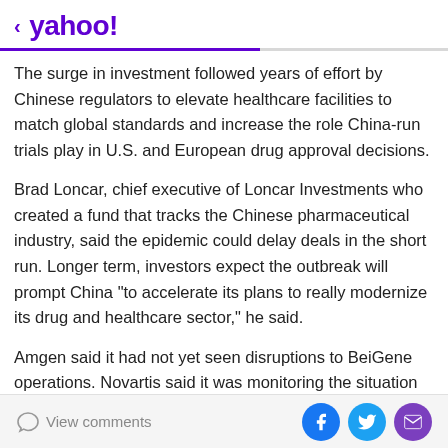< yahoo!
The surge in investment followed years of effort by Chinese regulators to elevate healthcare facilities to match global standards and increase the role China-run trials play in U.S. and European drug approval decisions.
Brad Loncar, chief executive of Loncar Investments who created a fund that tracks the Chinese pharmaceutical industry, said the epidemic could delay deals in the short run. Longer term, investors expect the outbreak will prompt China "to accelerate its plans to really modernize its drug and healthcare sector," he said.
Amgen said it had not yet seen disruptions to BeiGene operations. Novartis said it was monitoring the situation
View comments